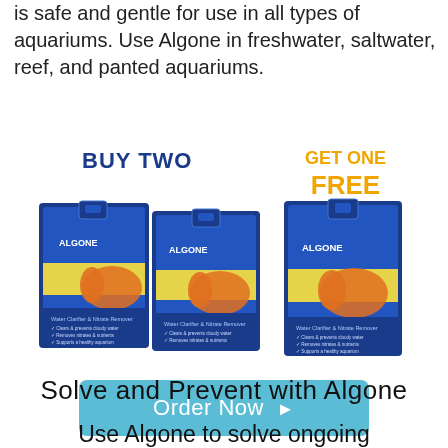is safe and gentle for use in all types of aquariums. Use Algone in freshwater, saltwater, reef, and panted aquariums.
[Figure (photo): Promotional image showing 'BUY TWO GET ONE FREE' offer for Algone Water Clarifier & Nitrate Remover product boxes with clownfish imagery]
Order Now ▶
Solve and Prevent with Algone
Use Algone to solve ongoing